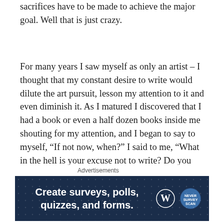sacrifices have to be made to achieve the major goal. Well that is just crazy.
For many years I saw myself as only an artist – I thought that my constant desire to write would dilute the art pursuit, lesson my attention to it and even diminish it. As I matured I discovered that I had a book or even a half dozen books inside me shouting for my attention, and I began to say to myself, “If not now, when?” I said to me, “What in the hell is your excuse not to write? Do you want to stifle this urge for the rest of your life?” OH! You mean that painting thing you do….well just maybe the writing would actually enhance the art and vice versa. I had to try it and it worked. The two passions in my life
Advertisements
[Figure (other): Advertisement banner for WordPress survey/poll/quiz/forms tool with dark navy background, white bold text reading 'Create surveys, polls, quizzes, and forms.' with WordPress and NeverSurveyScan logos on the right.]